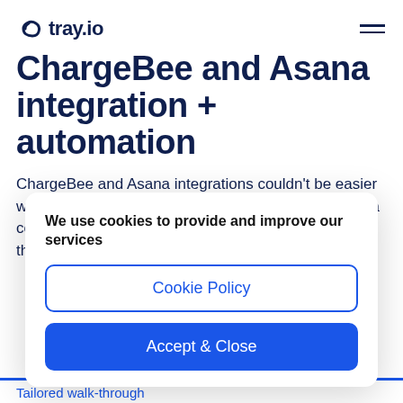tray.io
ChargeBee and Asana integration + automation
ChargeBee and Asana integrations couldn't be easier with the Tray Platform's robust ChargeBee and Asana connectors, which can connect to any service without the need for separate integration tools.
We use cookies to provide and improve our services
Cookie Policy
Accept & Close
Tailored walk-through